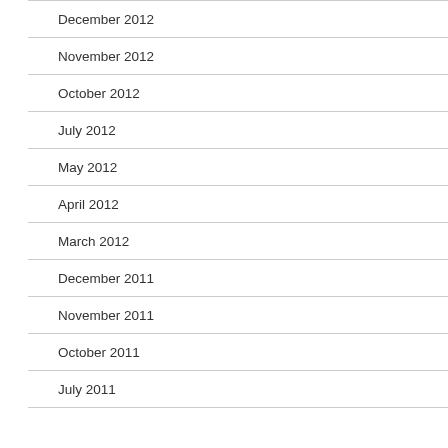December 2012
November 2012
October 2012
July 2012
May 2012
April 2012
March 2012
December 2011
November 2011
October 2011
July 2011